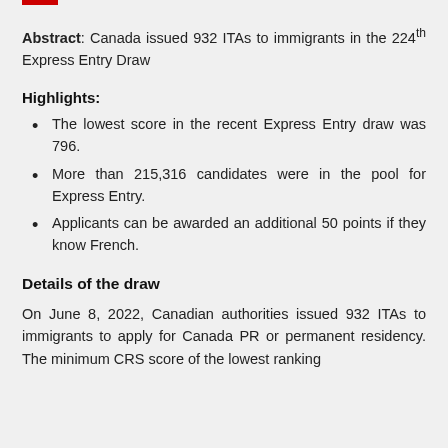Abstract: Canada issued 932 ITAs to immigrants in the 224th Express Entry Draw
Highlights:
The lowest score in the recent Express Entry draw was 796.
More than 215,316 candidates were in the pool for Express Entry.
Applicants can be awarded an additional 50 points if they know French.
Details of the draw
On June 8, 2022, Canadian authorities issued 932 ITAs to immigrants to apply for Canada PR or permanent residency. The minimum CRS score of the lowest ranking